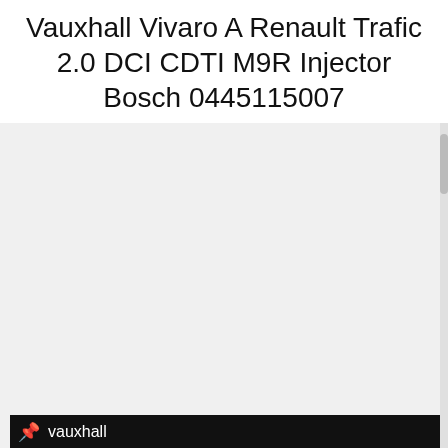Vauxhall Vivaro A Renault Trafic 2.0 DCI CDTI M9R Injector Bosch 0445115007
[Figure (screenshot): Pinterest-style pin showing vauxhall board label with pin icon, thumbnail of Bosch injector in Lookers packaging, and larger product photo of Bosch fuel injector with Lookers branding]